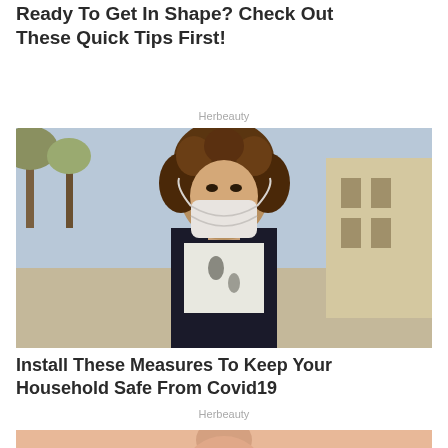Ready To Get In Shape? Check Out These Quick Tips First!
Herbeauty
[Figure (photo): Woman with curly hair wearing a white face mask standing outdoors on a sunny street]
Install These Measures To Keep Your Household Safe From Covid19
Herbeauty
[Figure (photo): Close-up of a woman's face showing nose and lips with red lipstick]
JUMP TO TOP